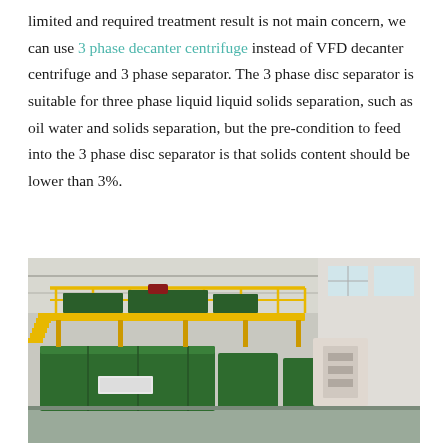limited and required treatment result is not main concern, we can use 3 phase decanter centrifuge instead of VFD decanter centrifuge and 3 phase separator. The 3 phase disc separator is suitable for three phase liquid liquid solids separation, such as oil water and solids separation, but the pre-condition to feed into the 3 phase disc separator is that solids content should be lower than 3%.
[Figure (photo): Industrial photo of a large green modular separation equipment unit with a yellow railing platform on top, inside a factory/warehouse building. Equipment includes green tanks and machinery.]